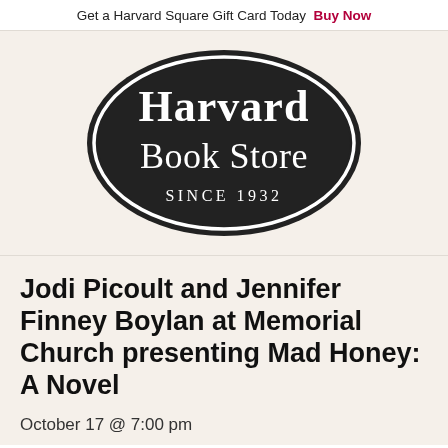Get a Harvard Square Gift Card Today Buy Now
[Figure (logo): Harvard Book Store oval logo — black oval with white serif text reading 'Harvard Book Store' and 'SINCE 1932' in smaller spaced caps]
Jodi Picoult and Jennifer Finney Boylan at Memorial Church presenting Mad Honey: A Novel
October 17 @ 7:00 pm